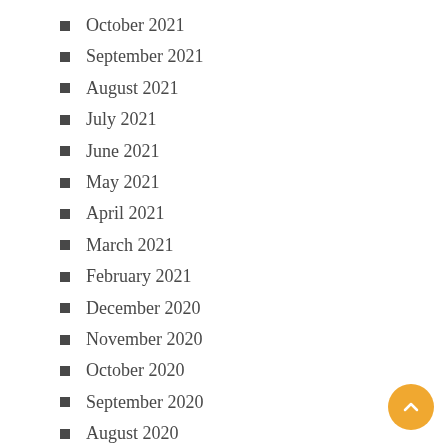October 2021
September 2021
August 2021
July 2021
June 2021
May 2021
April 2021
March 2021
February 2021
December 2020
November 2020
October 2020
September 2020
August 2020
July 2020